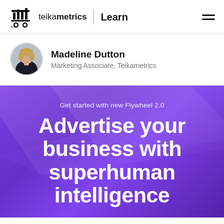teikametrics | Learn
Madeline Dutton
Marketing Associate, Teikametrics
Get started with new Flywheel 2.0
Advertise your business with superhuman intelligence